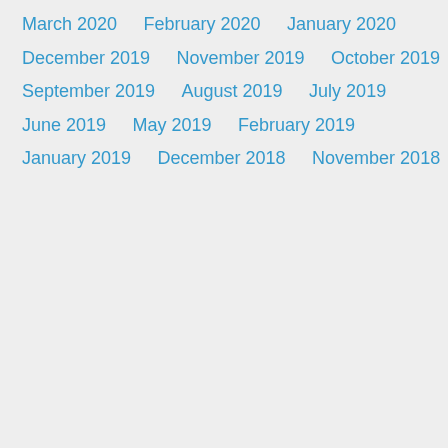March 2020
February 2020
January 2020
December 2019
November 2019
October 2019
September 2019
August 2019
July 2019
June 2019
May 2019
February 2019
January 2019
December 2018
November 2018